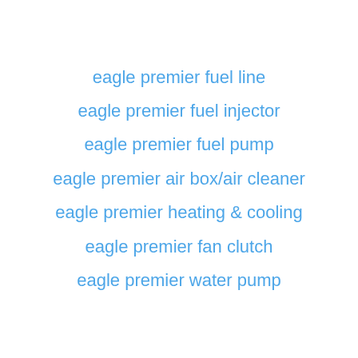eagle premier fuel line
eagle premier fuel injector
eagle premier fuel pump
eagle premier air box/air cleaner
eagle premier heating & cooling
eagle premier fan clutch
eagle premier water pump